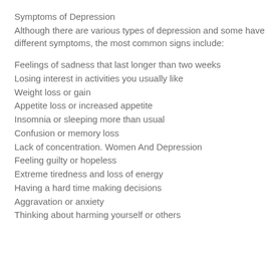Symptoms of Depression
Although there are various types of depression and some have different symptoms, the most common signs include:
Feelings of sadness that last longer than two weeks
Losing interest in activities you usually like
Weight loss or gain
Appetite loss or increased appetite
Insomnia or sleeping more than usual
Confusion or memory loss
Lack of concentration. Women And Depression
Feeling guilty or hopeless
Extreme tiredness and loss of energy
Having a hard time making decisions
Aggravation or anxiety
Thinking about harming yourself or others